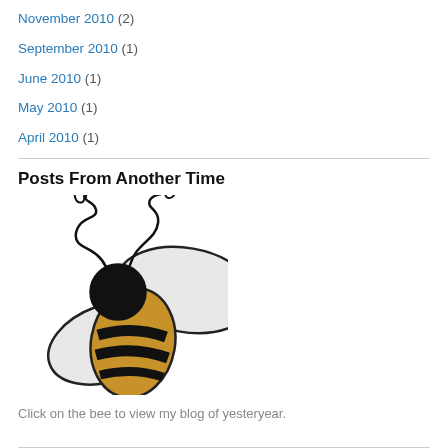November 2010 (2)
September 2010 (1)
June 2010 (1)
May 2010 (1)
April 2010 (1)
Posts From Another Time
[Figure (illustration): Cartoon bumble bee illustration with black and yellow striped body, white/grey wings, black head, and curly antennae]
Click on the bee to view my blog of yesteryear.